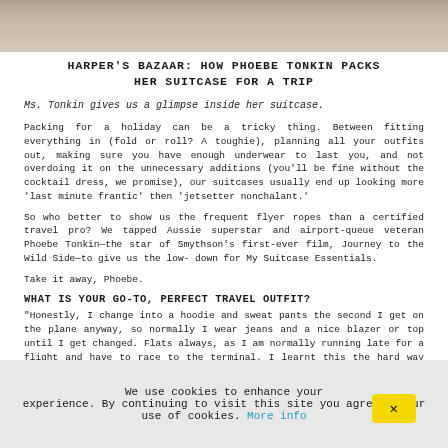[Figure (photo): Partial photo of a person, cropped at top showing hands/clothing against a light background]
HARPER'S BAZAAR: HOW PHOEBE TONKIN PACKS HER SUITCASE FOR A TRIP
Ms. Tonkin gives us a glimpse inside her suitcase.
Packing for a holiday can be a tricky thing. Between fitting everything in (fold or roll? A toughie), planning all your outfits out, making sure you have enough underwear to last you, and not overdoing it on the unnecessary additions (you'll be fine without the cocktail dress, we promise), our suitcases usually end up looking more 'last minute frantic' then 'jetsetter nonchalant.'
So who better to show us the frequent flyer ropes than a certified travel pro? We tapped Aussie superstar and airport-queue veteran Phoebe Tonkin—the star of Smythson's first-ever film, Journey to the Wild Side—to give us the low-down for My Suitcase Essentials.
Take it away, Phoebe.
WHAT IS YOUR GO-TO, PERFECT TRAVEL OUTFIT?
“Honestly, I change into a hoodie and sweat pants the second I get on the plane anyway, so normally I wear jeans and a nice blazer or top until I get changed. Flats always, as I am normally running late for a flight and have to race to the terminal. I learnt this the hard way one winter when I was wearing those over the knee Stuart Weitzman heel boots, and I had to run the length of three terminals in those things, in the icy cold. Awful.”
We use cookies to enhance your experience. By continuing to visit this site you agree to our use of cookies. More info